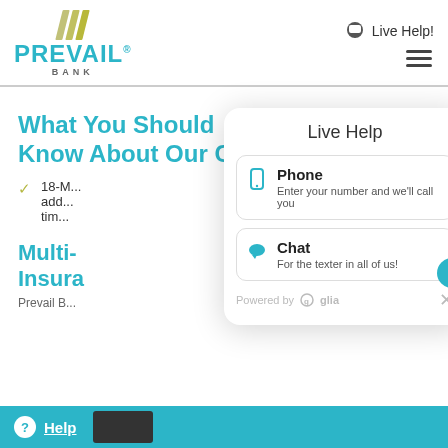[Figure (logo): Prevail Bank logo with diagonal slash marks in olive/yellow and teal wordmark]
Live Help!
What You Should Know About Our CDs
18-M... add... tim...
Multi-... Insura...
[Figure (infographic): Live Help modal popup with Phone and Chat options. Phone: Enter your number and we'll call you. Chat: For the texter in all of us! Powered by glia.]
Help